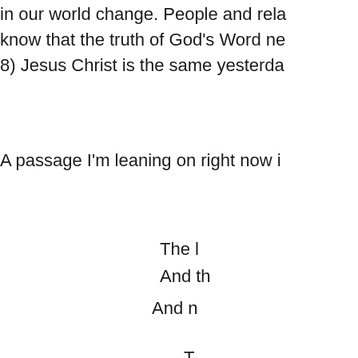in our world change. People and rela know that the truth of God's Word ne 8) Jesus Christ is the same yesterda
A passage I'm leaning on right now i
The l And th
And n
T
Th
Th
The c
.